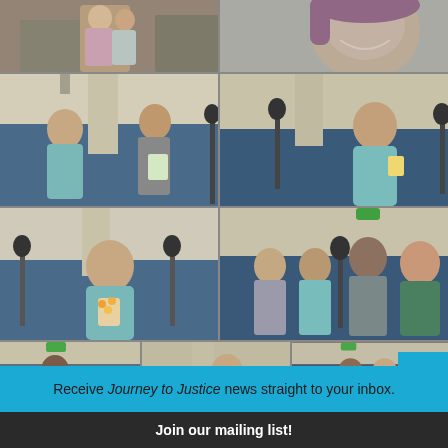[Figure (photo): Photo collage grid of students at a school event (Journey to Justice). Six photos arranged in a 2-column grid showing students speaking at microphones, embracing, and performing. Blue gymnasium walls visible in background. Students wearing teal/light blue dresses and formal attire.]
Receive Journey to Justice news straight to your inbox.
Join our mailing list!